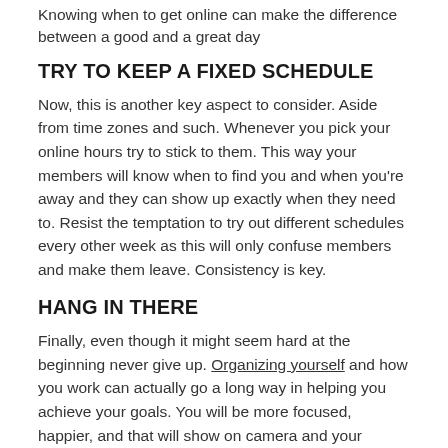Knowing when to get online can make the difference between a good and a great day
TRY TO KEEP A FIXED SCHEDULE
Now, this is another key aspect to consider. Aside from time zones and such. Whenever you pick your online hours try to stick to them. This way your members will know when to find you and when you're away and they can show up exactly when they need to. Resist the temptation to try out different schedules every other week as this will only confuse members and make them leave. Consistency is key.
HANG IN THERE
Finally, even though it might seem hard at the beginning never give up. Organizing yourself and how you work can actually go a long way in helping you achieve your goals. You will be more focused, happier, and that will show on camera and your members will pick up on your